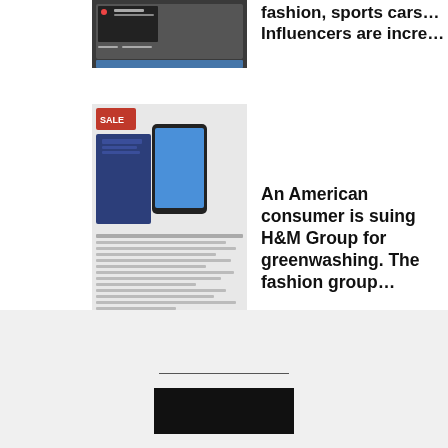[Figure (screenshot): Partial thumbnail of a social media post at top of page]
fashion, sports cars… Influencers are incre…
[Figure (photo): Photo showing phone and clothing items with H&M related content]
An American consumer is suing H&M Group for greenwashing. The fashion group…
[Figure (photo): Photo showing BoF branded materials/books in pink and black]
BoF shares key insights from two talks positing innovations to wholesale mo…
[Figure (photo): Partial thumbnail at bottom of page]